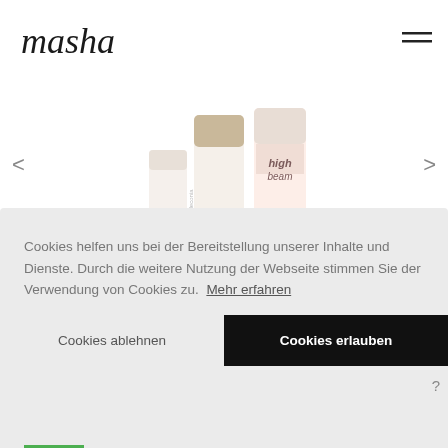[Figure (logo): Masha brand logo in script/cursive handwriting style]
[Figure (photo): Cosmetic stick products - two makeup sticks/highlighters shown in a product carousel with left/right navigation arrows]
Cookies helfen uns bei der Bereitstellung unserer Inhalte und Dienste. Durch die weitere Nutzung der Webseite stimmen Sie der Verwendung von Cookies zu.  Mehr erfahren